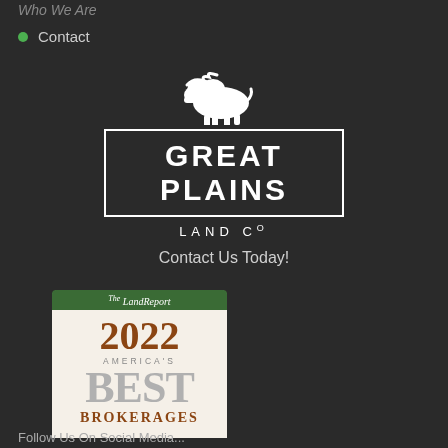Who We Are
Contact
[Figure (logo): Great Plains Land Co logo with white bison silhouette above a rectangular border containing the text GREAT PLAINS in large bold uppercase letters, with LAND Co below in smaller spaced uppercase letters]
Contact Us Today!
[Figure (other): The Land Report 2022 America's Best Brokerages award badge with green header, cream/beige background, brown and gray typography]
Follow Us On Social Media...